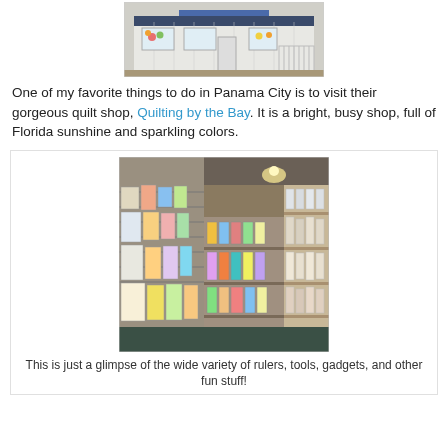[Figure (photo): Exterior photo of a white building with flower decorations in the windows, likely the Quilting by the Bay shop in Panama City]
One of my favorite things to do in Panama City is to visit their gorgeous quilt shop, Quilting by the Bay. It is a bright, busy shop, full of Florida sunshine and sparkling colors.
[Figure (photo): Interior photo of a quilt shop showing shelves and walls full of rulers, tools, gadgets, quilting supplies and various products]
This is just a glimpse of the wide variety of rulers, tools, gadgets, and other fun stuff!